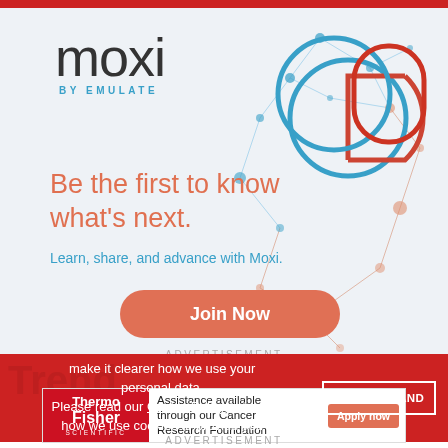[Figure (logo): Moxi by Emulate logo with overlapping blue and red circle/arch shapes and network diagram background]
Be the first to know what’s next.
Learn, share, and advance with Moxi.
Join Now
ADVERTISEMENT
make it clearer how we use your personal data.
Please read our Cookie Policy to learn how we use cookies to provide you
I UNDERSTAND
[Figure (logo): Thermo Fisher Scientific advertisement - Assistance available through our Cancer Research Foundation with Apply now button]
ADVERTISEMENT